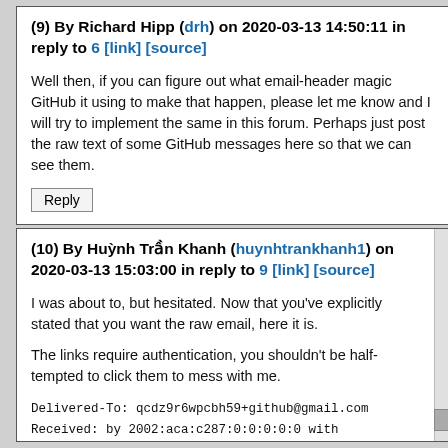(9) By Richard Hipp (drh) on 2020-03-13 14:50:11 in reply to 6 [link] [source]
Well then, if you can figure out what email-header magic GitHub it using to make that happen, please let me know and I will try to implement the same in this forum. Perhaps just post the raw text of some GitHub messages here so that we can see them.
(10) By Huỳnh Trần Khanh (huynhtrankhanh1) on 2020-03-13 15:03:00 in reply to 9 [link] [source]
I was about to, but hesitated. Now that you've explicitly stated that you want the raw email, here it is.
The links require authentication, you shouldn't be half-tempted to click them to mess with me.
Delivered-To: qcdz9r6wpcbh59+github@gmail.com
Received: by 2002:aca:c287:0:0:0:0:0 with
SMTP id c139cep527496oif;